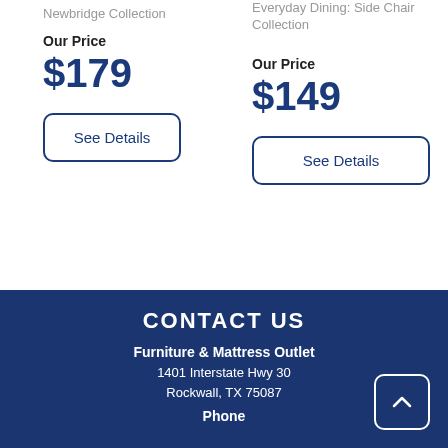Newbridge Collection
Our Price
$179
See Details
Everyday Dining: Side Chair Collection
Our Price
$149
See Details
CONTACT US
Furniture & Mattress Outlet
1401 Interstate Hwy 30
Rockwall, TX 75087
Phone